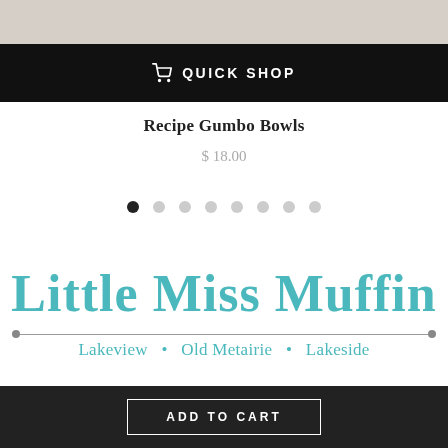[Figure (photo): Partial product image cropped at top of page]
🛒 QUICK SHOP
Recipe Gumbo Bowls
$ 18.00
[Figure (other): Pagination dots: 1 active (black), 7 inactive (gray)]
Little Miss Muffin
Lakeview  •  Old Metairie  •  Lakeside
[Figure (other): Social media icons: Facebook, Twitter, Pinterest, Instagram]
ADD TO CART